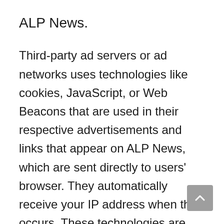ALP News.
Third-party ad servers or ad networks uses technologies like cookies, JavaScript, or Web Beacons that are used in their respective advertisements and links that appear on ALP News, which are sent directly to users' browser. They automatically receive your IP address when this occurs. These technologies are used to measure the effectiveness of their advertising campaigns and/or to personalize the advertising content that you see on websites that you visit.